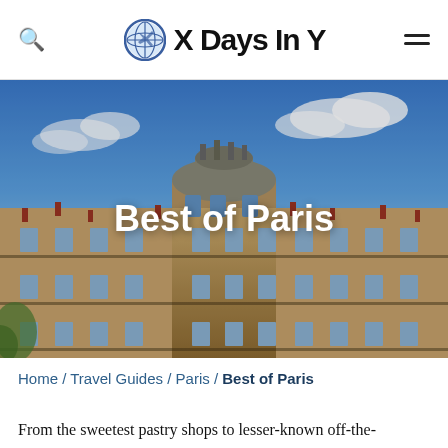X Days In Y
[Figure (photo): Haussmann-style Parisian building facade with ornate balconies and mansard roof against a blue sky with clouds, with 'Best of Paris' text overlay]
Best of Paris
Home / Travel Guides / Paris / Best of Paris
From the sweetest pastry shops to lesser-known off-the-